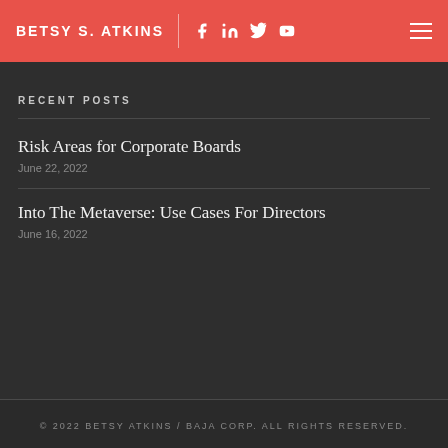BETSY S. ATKINS
RECENT POSTS
Risk Areas for Corporate Boards
June 22, 2022
Into The Metaverse: Use Cases For Directors
June 16, 2022
© 2022 BETSY ATKINS / BAJA CORP. ALL RIGHTS RESERVED.